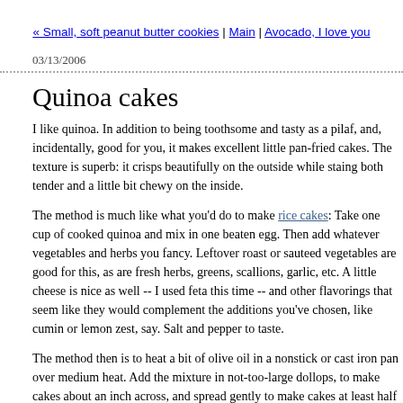« Small, soft peanut butter cookies | Main | Avocado, I love you
03/13/2006
Quinoa cakes
I like quinoa. In addition to being toothsome and tasty as a pilaf, and, incidentally, good for you, it makes excellent little pan-fried cakes. The texture is superb: it crisps beautifully on the outside while staing both tender and a little bit chewy on the inside.
The method is much like what you'd do to make rice cakes: Take one cup of cooked quinoa and mix in one beaten egg. Then add whatever vegetables and herbs you fancy. Leftover roast or sauteed vegetables are good for this, as are fresh herbs, greens, scallions, garlic, etc. A little cheese is nice as well -- I used feta this time -- and other flavorings that seem like they would complement the additions you've chosen, like cumin or lemon zest, say. Salt and pepper to taste.
The method then is to heat a bit of olive oil in a nonstick or cast iron pan over medium heat. Add the mixture in not-too-large dollops, to make cakes about an inch across, and spread gently to make cakes at least half an inch thick (they'll